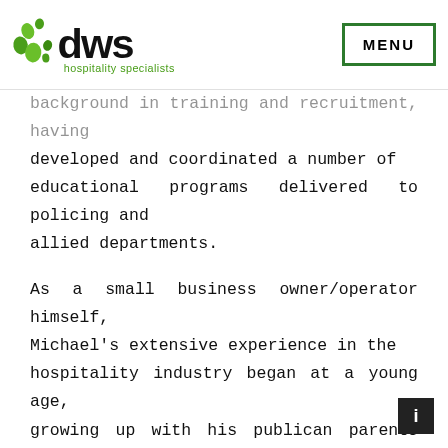dws hospitality specialists | MENU
background in training and recruitment, having developed and coordinated a number of educational programs delivered to policing and allied departments.

As a small business owner/operator himself, Michael's extensive experience in the hospitality industry began at a young age, growing up with his publican parents managing hotels throughout New Zealand and operating his own profitable business for six years. Michael is a qualified trainer and assessor who holds a Diploma in New Zealand Policing as well